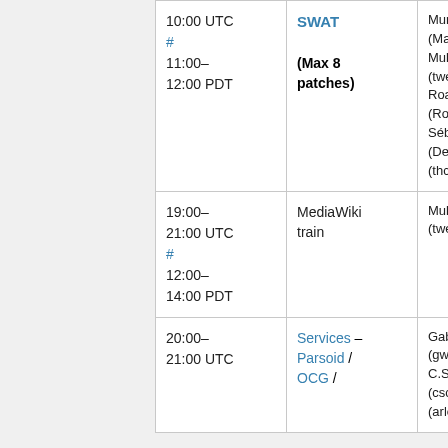| Time | Event | People |
| --- | --- | --- |
| 10:00 UTC #
11:00–12:00 PDT | SWAT
(Max 8 patches) | Muni (Muri), ...
(MaxSem), Muk...
(twentyafter...
Roan (RoanKa...
Sébastien
(Dereckson), ...
(thcipriani) |
| 19:00–21:00 UTC #
12:00–14:00 PDT | MediaWiki train | Mukunda
(twentyafter... |
| 20:00–21:00 UTC | Services –
Parsoid /
OCG / | Gabriel (gwick...
C.Scott (cscot...
(arlolra), Su... |